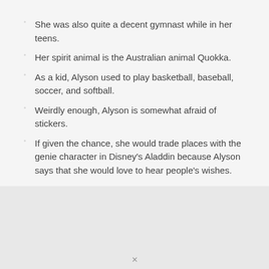She was also quite a decent gymnast while in her teens.
Her spirit animal is the Australian animal Quokka.
As a kid, Alyson used to play basketball, baseball, soccer, and softball.
Weirdly enough, Alyson is somewhat afraid of stickers.
If given the chance, she would trade places with the genie character in Disney's Aladdin because Alyson says that she would love to hear people's wishes.